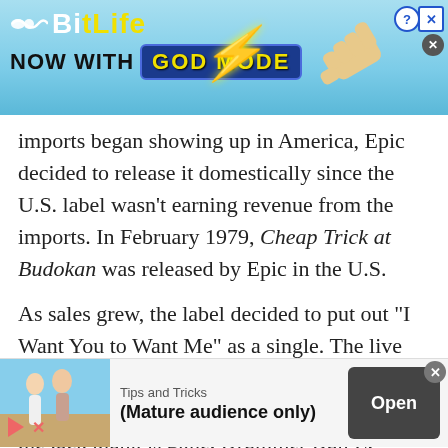[Figure (screenshot): BitLife mobile game advertisement banner with 'NOW WITH GOD MODE' text on blue background with hand pointing and lightning bolt graphic]
imports began showing up in America, Epic decided to release it domestically since the U.S. label wasn't earning revenue from the imports. In February 1979, Cheap Trick at Budokan was released by Epic in the U.S.
As sales grew, the label decided to put out “I Want You to Want Me” as a single. The live version is markedly different from the original studio recording. It’s much more guitar-driven; the tack piano is gone. Drummer Bun E. Carlos starts things off and then Nielsen kicks in with his first of severa
[Figure (screenshot): Mobile advertisement banner showing beach photo with two women, 'Tips and Tricks (Mature audience only)' text, and 'Open' button]